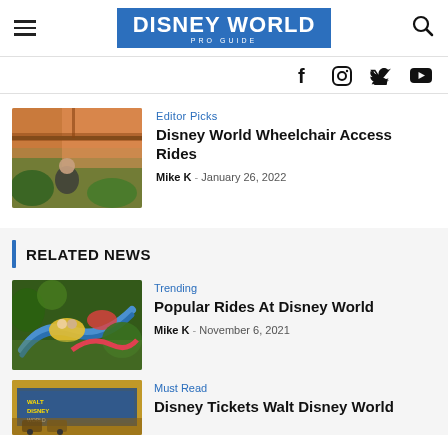DISNEY WORLD PRO GUIDE
[Figure (logo): Disney World Pro Guide logo with blue background]
[Figure (infographic): Social media icons: Facebook, Instagram, Twitter, YouTube]
Editor Picks
Disney World Wheelchair Access Rides
Mike K  -  January 26, 2022
[Figure (photo): Person in wheelchair on a ride at Disney World, jungle themed environment]
RELATED NEWS
Trending
Popular Rides At Disney World
Mike K  -  November 6, 2021
[Figure (photo): Colorful Disney World ride aerial view with people on it]
Must Read
Disney Tickets Walt Disney World